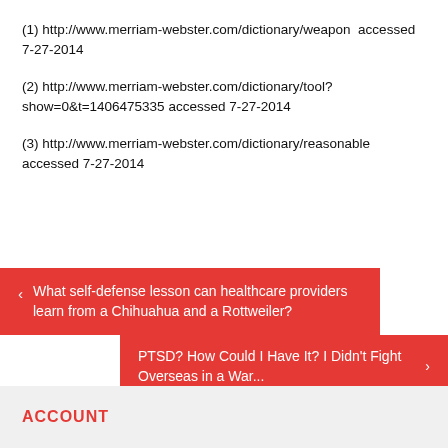(1) http://www.merriam-webster.com/dictionary/weapon  accessed 7-27-2014
(2) http://www.merriam-webster.com/dictionary/tool?show=0&t=1406475335 accessed 7-27-2014
(3) http://www.merriam-webster.com/dictionary/reasonable  accessed 7-27-2014
< What self-defense lesson can healthcare providers learn from a Chihuahua and a Rottweiler?
PTSD? How Could I Have It? I Didn't Fight Overseas in a War... >
ACCOUNT